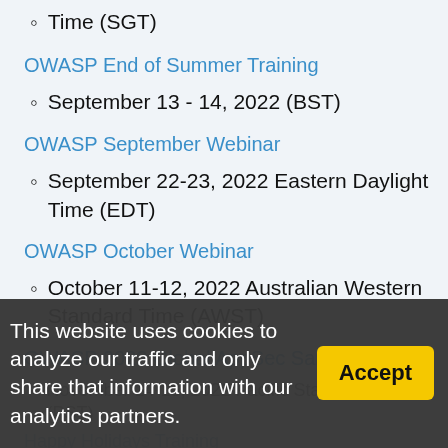Time (SGT)
OWASP End of Summer Training
September 13 - 14, 2022 (BST)
OWASP September Webinar
September 22-23, 2022 Eastern Daylight Time (EDT)
OWASP October Webinar
October 11-12, 2022 Australian Western Standard Time (AWST)
OWASP 2022 Global AppSec San Francisco
November 14-18, 2022 Pacific Standard Time (PST)
Happy Holidays Training
December 12-13, 2022 Eastern Standard
This website uses cookies to analyze our traffic and only share that information with our analytics partners.